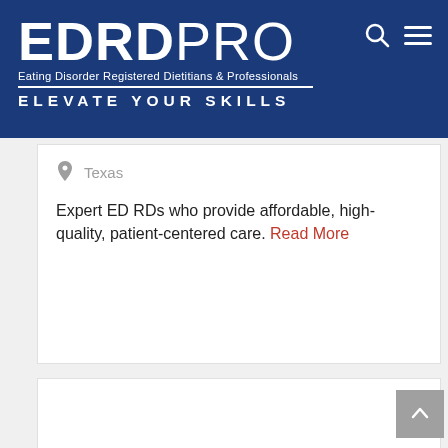[Figure (logo): EDRD PRO logo with tagline 'Eating Disorder Registered Dietitians & Professionals' and 'ELEVATE YOUR SKILLS' on dark blue banner background with search and menu icons]
Texas
Expert ED RDs who provide affordable, high-quality, patient-centered care. Read More
[Figure (logo): NOURISH logo text in olive/green arc lettering partially visible at bottom of page]